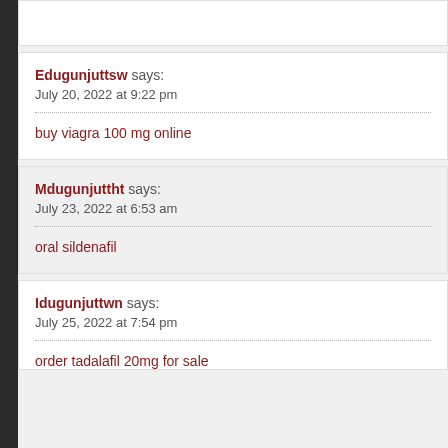Edugunjuttsw says:
July 20, 2022 at 9:22 pm
buy viagra 100 mg online
Mdugunjuttht says:
July 23, 2022 at 6:53 am
oral sildenafil
Idugunjuttwn says:
July 25, 2022 at 7:54 pm
order tadalafil 20mg for sale